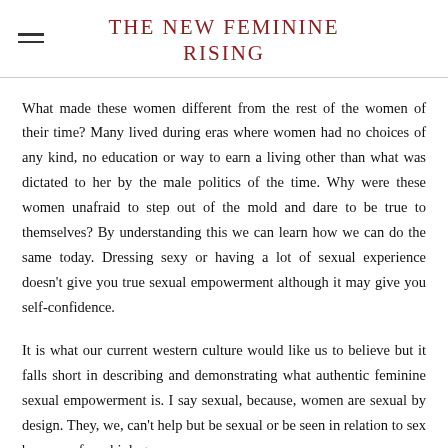THE NEW FEMININE RISING
What made these women different from the rest of the women of their time? Many lived during eras where women had no choices of any kind, no education or way to earn a living other than what was dictated to her by the male politics of the time. Why were these women unafraid to step out of the mold and dare to be true to themselves? By understanding this we can learn how we can do the same today. Dressing sexy or having a lot of sexual experience doesn't give you true sexual empowerment although it may give you self-confidence.
It is what our current western culture would like us to believe but it falls short in describing and demonstrating what authentic feminine sexual empowerment is. I say sexual, because, women are sexual by design. They, we, can't help but be sexual or be seen in relation to sex because of our biology.